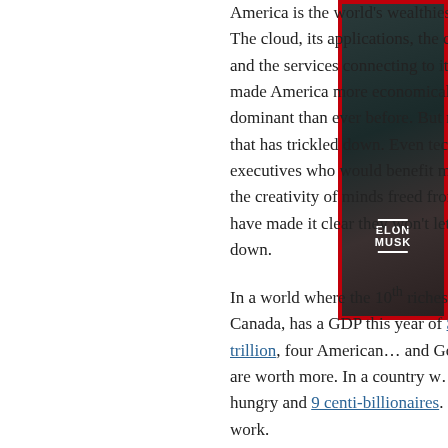America is the world's wealthiest country. The cloud, its applications, the clients, and the services connecting to it, have made America more economically dominant than ever before. But none of that has trickled down. Even tech executives who would benefit most from the creativity of minds freed from want, have made it clear they won't let it trickle down.
[Figure (photo): Photo of Elon Musk with red border magazine cover panel, labeled 'ELON MUSK']
In a world where the 10th richest country, Canada, has a GDP this year of $1.6 trillion, four Americans and Google -- are worth more. In a country w... going hungry and 9 centi-billionaires. Our w... work.
One weird trick is keeping this Second Gilde... Elizabeth Warren proposed taxing billionaire... the millionaires. The millionaires then said...